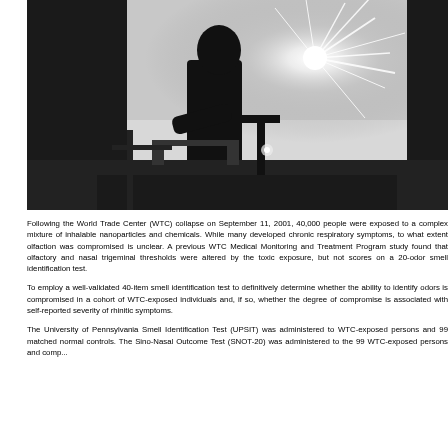[Figure (photo): Black and white silhouette photograph of a person working with equipment against a bright sunburst and sky background]
Following the World Trade Center (WTC) collapse on September 11, 2001, 40,000 people were exposed to a complex mixture of inhalable nanoparticles and chemicals. While many developed chronic respiratory symptoms, to what extent olfaction was compromised is unclear. A previous WTC Medical Monitoring and Treatment Program study found that olfactory and nasal trigeminal thresholds were altered by the toxic exposure, but not scores on a 20-odor smell identification test.
To employ a well-validated 40-item smell identification test to definitively determine whether the ability to identify odors is compromised in a cohort of WTC-exposed individuals and, if so, whether the degree of compromise is associated with self-reported severity of rhinitic symptoms.
The University of Pennsylvania Smell Identification Test (UPSIT) was administered to WTC-exposed persons and 99 matched normal controls. The Sino-Nasal Outcome Test (SNOT-20) was administered to the 99 WTC-exposed persons and comp...